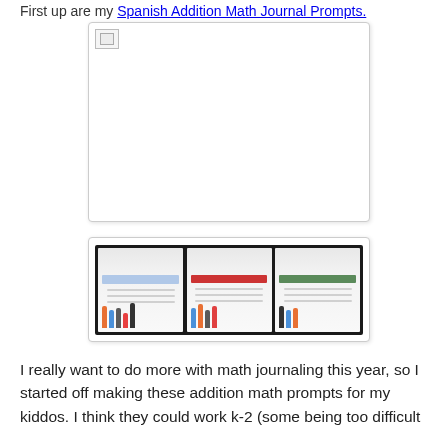First up are my Spanish Addition Math Journal Prompts.
[Figure (photo): Large image placeholder with broken image icon in top-left corner (image failed to load), white background with light gray border]
[Figure (photo): Three spiral-bound math journal notebooks displayed side by side on a dark background, each open to a page showing math problems with colorful markers/crayons placed on top]
I really want to do more with math journaling this year, so I started off making these addition math prompts for my kiddos.  I think they could work k-2 (some being too difficult